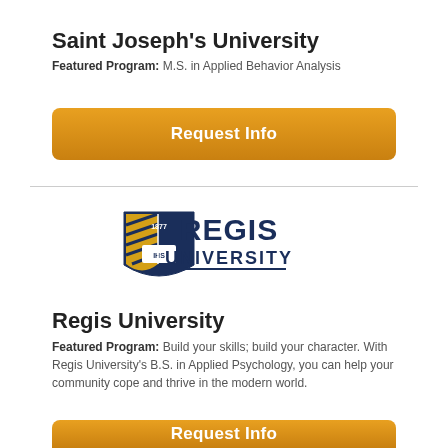Saint Joseph's University
Featured Program: M.S. in Applied Behavior Analysis
[Figure (other): Orange rounded 'Request Info' button]
[Figure (logo): Regis University logo with shield emblem showing '1877' and 'IHS', gold and navy colors, with 'REGIS UNIVERSITY' text in navy]
Regis University
Featured Program: Build your skills; build your character. With Regis University's B.S. in Applied Psychology, you can help your community cope and thrive in the modern world.
[Figure (other): Orange rounded 'Request Info' button (partially visible at bottom)]